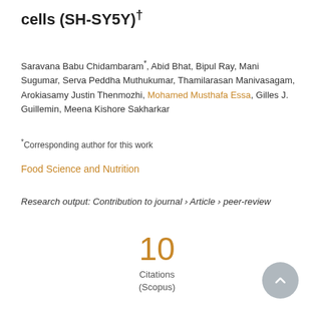cells (SH-SY5Y)†
Saravana Babu Chidambaram*, Abid Bhat, Bipul Ray, Mani Sugumar, Serva Peddha Muthukumar, Thamilarasan Manivasagam, Arokiasamy Justin Thenmozhi, Mohamed Musthafa Essa, Gilles J. Guillemin, Meena Kishore Sakharkar
*Corresponding author for this work
Food Science and Nutrition
Research output: Contribution to journal › Article › peer-review
10 Citations (Scopus)